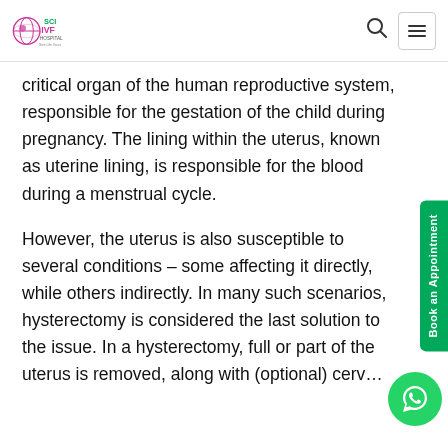SCI IVF HOSPITAL
critical organ of the human reproductive system, responsible for the gestation of the child during pregnancy. The lining within the uterus, known as uterine lining, is responsible for the blood during a menstrual cycle.
However, the uterus is also susceptible to several conditions – some affecting it directly, while others indirectly. In many such scenarios, hysterectomy is considered the last solution to the issue. In a hysterectomy, full or part of the uterus is removed, along with (optional) cerv…